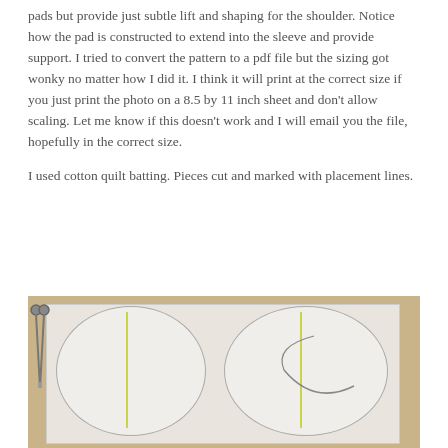pads but provide just subtle lift and shaping for the shoulder. Notice how the pad is constructed to extend into the sleeve and provide support. I tried to convert the pattern to a pdf file but the sizing got wonky no matter how I did it. I think it will print at the correct size if you just print the photo on a 8.5 by 11 inch sheet and don't allow scaling. Let me know if this doesn't work and I will email you the file, hopefully in the correct size.
I used cotton quilt batting. Pieces cut and marked with placement lines.
[Figure (photo): Photo of two white oval-shaped cotton quilt batting pieces on white paper, placed on a tan/beige surface. Each oval has yellow placement lines marked on them. Scissors are visible on the left side of the image.]